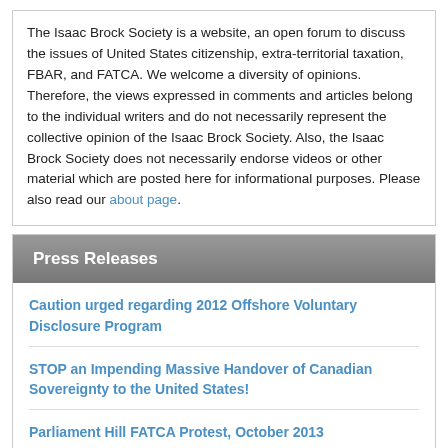The Isaac Brock Society is a website, an open forum to discuss the issues of United States citizenship, extra-territorial taxation, FBAR, and FATCA. We welcome a diversity of opinions. Therefore, the views expressed in comments and articles belong to the individual writers and do not necessarily represent the collective opinion of the Isaac Brock Society. Also, the Isaac Brock Society does not necessarily endorse videos or other material which are posted here for informational purposes. Please also read our about page.
Press Releases
Caution urged regarding 2012 Offshore Voluntary Disclosure Program
STOP an Impending Massive Handover of Canadian Sovereignty to the United States!
Parliament Hill FATCA Protest, October 2013